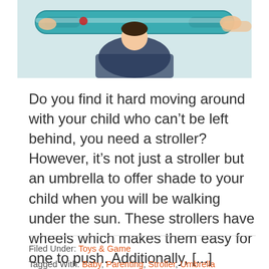[Figure (photo): Photo of a baby in a teal/green stroller being pushed by a woman, cropped to show the stroller handlebar and upper portion]
Do you find it hard moving around with your child who can't be left behind, you need a stroller? However, it's not just a stroller but an umbrella to offer shade to your child when you will be walking under the sun. These strollers have wheels which makes them easy for one to push. Additionally, [...]
Filed Under: Toys & Game
Tagged With: Baby, Parenting, Stroller, Umbrella